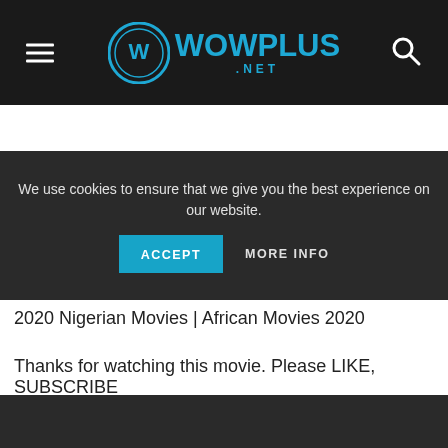WowPlus.net
2020 Nigerian Movies | African Movies 2020
Thanks for watching this movie. Please LIKE, SUBSCRIBE
We use cookies to ensure that we give you the best experience on our website.
ACCEPT   MORE INFO